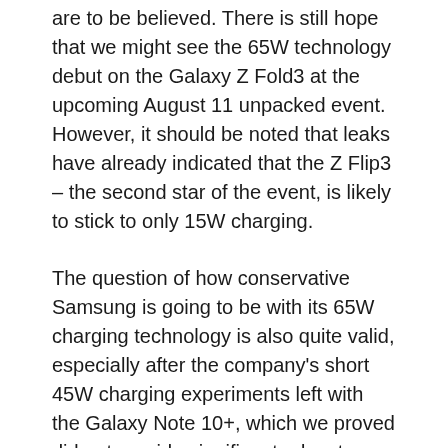are to be believed. There is still hope that we might see the 65W technology debut on the Galaxy Z Fold3 at the upcoming August 11 unpacked event. However, it should be noted that leaks have already indicated that the Z Flip3 – the second star of the event, is likely to stick to only 15W charging.
The question of how conservative Samsung is going to be with its 65W charging technology is also quite valid, especially after the company's short 45W charging experiments left with the Galaxy Note 10+, which we proved did not provide significant advantages over 25W charging.
Source
Related Posts: